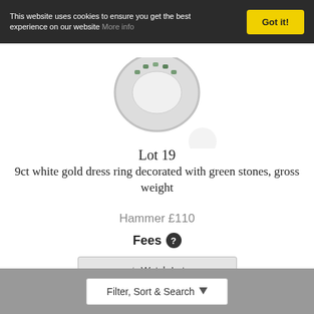This website uses cookies to ensure you get the best experience on our website More info
[Figure (photo): Partial view of a 9ct white gold dress ring with green stones from above]
Lot 19
9ct white gold dress ring decorated with green stones, gross weight
Hammer £110
Fees
Watch Lot
Filter, Sort & Search